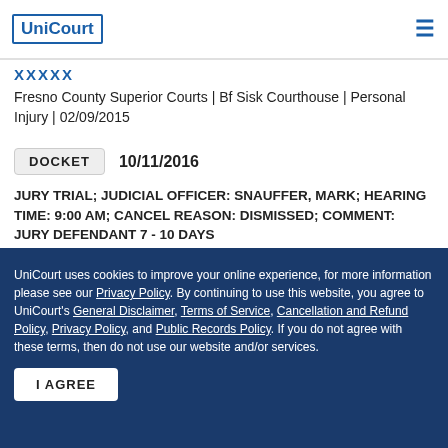UniCourt
XXXXX
Fresno County Superior Courts | Bf Sisk Courthouse | Personal Injury | 02/09/2015
DOCKET  10/11/2016
JURY TRIAL; JUDICIAL OFFICER: SNAUFFER, MARK; HEARING TIME: 9:00 AM; CANCEL REASON: DISMISSED; COMMENT: JURY DEFENDANT 7 - 10 DAYS
DISPOSITION  10/07/2016
UniCourt uses cookies to improve your online experience, for more information please see our Privacy Policy. By continuing to use this website, you agree to UniCourt's General Disclaimer, Terms of Service, Cancellation and Refund Policy, Privacy Policy, and Public Records Policy. If you do not agree with these terms, then do not use our website and/or services.
I AGREE